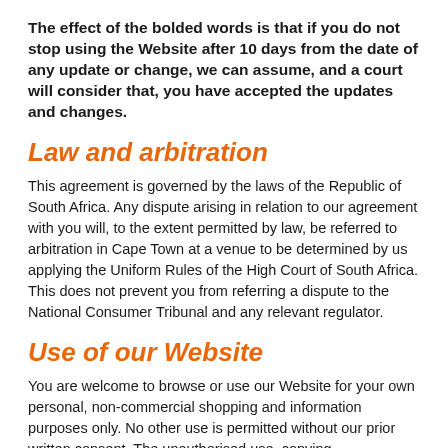The effect of the bolded words is that if you do not stop using the Website after 10 days from the date of any update or change, we can assume, and a court will consider that, you have accepted the updates and changes.
Law and arbitration
This agreement is governed by the laws of the Republic of South Africa. Any dispute arising in relation to our agreement with you will, to the extent permitted by law, be referred to arbitration in Cape Town at a venue to be determined by us applying the Uniform Rules of the High Court of South Africa. This does not prevent you from referring a dispute to the National Consumer Tribunal and any relevant regulator.
Use of our Website
You are welcome to browse or use our Website for your own personal, non-commercial shopping and information purposes only. No other use is permitted without our prior written consent. The unauthorised use, copying, reproduction, variation, modification or distribution of the content of this Website, the